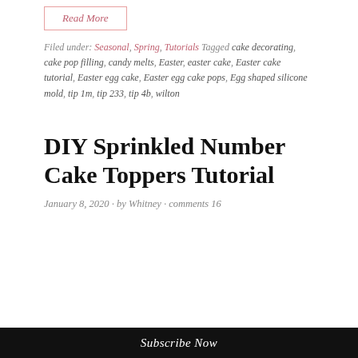Read More
Filed under: Seasonal, Spring, Tutorials Tagged cake decorating, cake pop filling, candy melts, Easter, easter cake, Easter cake tutorial, Easter egg cake, Easter egg cake pops, Egg shaped silicone mold, tip 1m, tip 233, tip 4b, wilton
DIY Sprinkled Number Cake Toppers Tutorial
January 8, 2020 · by Whitney · comments 16
Subscribe Now